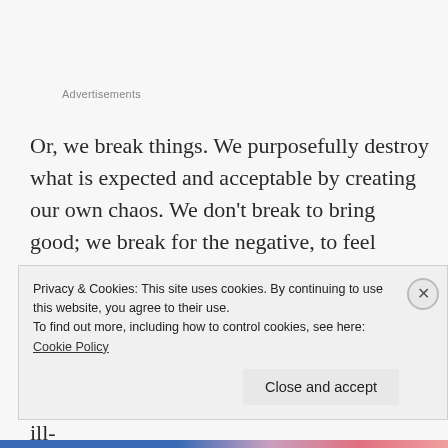Advertisements
Or, we break things. We purposefully destroy what is expected and acceptable by creating our own chaos. We don't break to bring good; we break for the negative, to feel something. The question “What if I do this…” becomes a catalyst for actions you would not think of taking before. You poke the bear to see if it will wake up. You see how close you can get to the temptation or ill-
Privacy & Cookies: This site uses cookies. By continuing to use this website, you agree to their use.
To find out more, including how to control cookies, see here: Cookie Policy

Close and accept